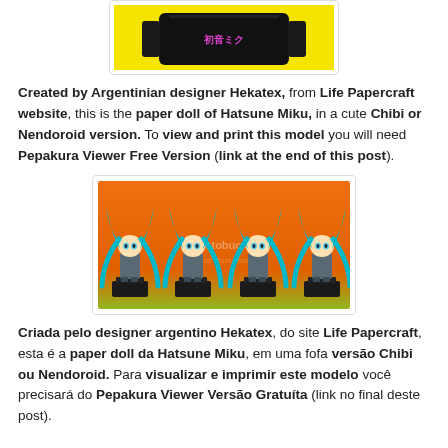[Figure (photo): Top portion of a black box/speaker on a yellow background — partial crop from top of page]
Created by Argentinian designer Hekatex, from Life Papercraft website, this is the paper doll of Hatsune Miku, in a cute Chibi or Nendoroid version. To view and print this model you will need Pepakura Viewer Free Version (link at the end of this post).
[Figure (photo): Four Hatsune Miku chibi/Nendoroid paper doll figurines standing on black bases against an orange-to-green gradient background. The figurines show different poses with teal twin-tails hair.]
Criada pelo designer argentino Hekatex, do site Life Papercraft, esta é a paper doll da Hatsune Miku, em uma fofa versão Chibi ou Nendoroid. Para visualizar e imprimir este modelo você precisará do Pepakura Viewer Versão Gratuíta (link no final deste post).